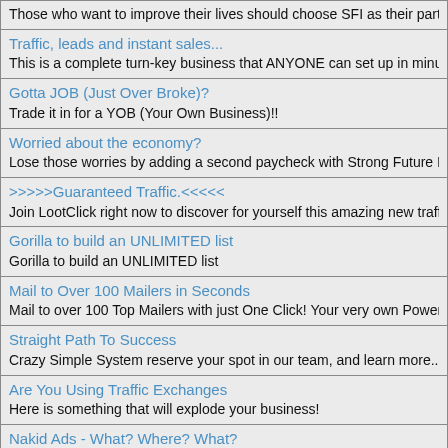Those who want to improve their lives should choose SFI as their partner in...
Traffic, leads and instant sales...
This is a complete turn-key business that ANYONE can set up in minutes and...
Gotta JOB (Just Over Broke)?
Trade it in for a YOB (Your Own Business)!!
Worried about the economy?
Lose those worries by adding a second paycheck with Strong Future Internat...
>>>>>Guaranteed Traffic.<<<<<
Join LootClick right now to discover for yourself this amazing new traffic sy...
Gorilla to build an UNLIMITED list
Gorilla to build an UNLIMITED list
Mail to Over 100 Mailers in Seconds
Mail to over 100 Top Mailers with just One Click! Your very own Power Sol...
Straight Path To Success
Crazy Simple System reserve your spot in our team, and learn more...
Are You Using Traffic Exchanges
Here is something that will explode your business!
Nakid Ads - What? Where? What?
Check this out before they take it down
100% Give Away: Software Packages To Generate Massive Waves Of Traffic...
Start Your Own High Demand Software Empire For Free Now! No Experien...
All In One Marketing System